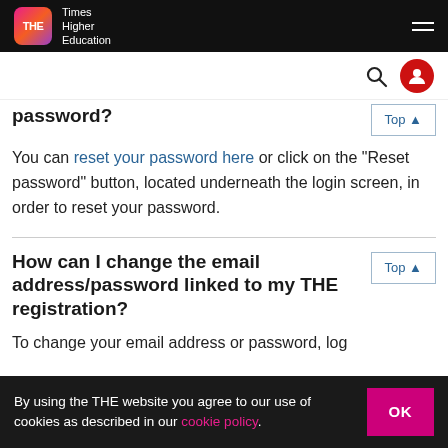Times Higher Education
password?
You can reset your password here or click on the “Reset password” button, located underneath the login screen, in order to reset your password.
How can I change the email address/password linked to my THE registration?
To change your email address or password, log
By using the THE website you agree to our use of cookies as described in our cookie policy.